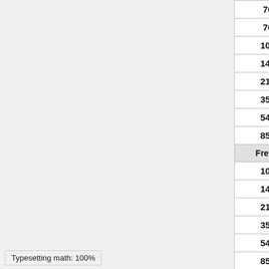| Frequency | Filename (truncated) |
| --- | --- |
| 70GHz | LFI_SkyMap_070_… |
| 70GHz | LFI_SkyMap_070_… |
| 100GHz | HFI_SkyMap_100_… |
| 143GHz | HFI_SkyMap_143_… |
| 217GHz | HFI_SkyMap_217_… |
| 353GHz | HFI_SkyMap_353_… |
| 545GHz | HFI_SkyMap_545_… |
| 857GHz | HFI_SkyMap_857_… |
| Frequency | Full channel, … |
| 100GHz | HFI_SkyMap_100_2048_R… |
| 143GHz | HFI_SkyMap_143_2048_R… |
| 217GHz | HFI_SkyMap_217_2048_R… |
| 353GHz | HFI_SkyMap_353_2048_R… |
| 545GHz | HFI_SkyMap_545_2048_R… |
| 857GHz | HFI_SkyMap_857_2048_R… |
| Frequency | Combined… |
Typesetting math: 100%